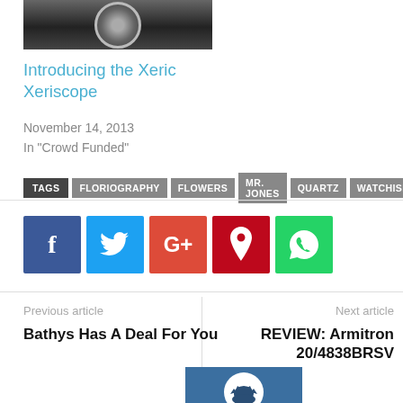[Figure (photo): Watch close-up photo, dark background]
Introducing the Xeric Xeriscope
November 14, 2013
In "Crowd Funded"
TAGS: FLORIOGRAPHY  FLOWERS  MR. JONES  QUARTZ  WATCHISMO
[Figure (infographic): Social share buttons: Facebook, Twitter, Google+, Pinterest, WhatsApp]
Previous article
Bathys Has A Deal For You
Next article
REVIEW: Armitron 20/4838BRSV
[Figure (photo): Batman avatar image on blue background]